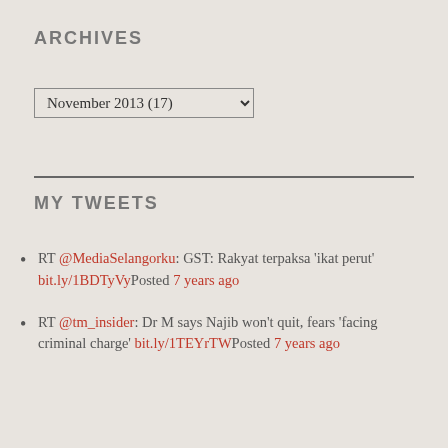ARCHIVES
November 2013 (17)
MY TWEETS
RT @MediaSelangorku: GST: Rakyat terpaksa ‘ikat perut’ bit.ly/1BDTyVyPosted 7 years ago
RT @tm_insider: Dr M says Najib won’t quit, fears ‘facing criminal charge’ bit.ly/1TEYrTWPosted 7 years ago